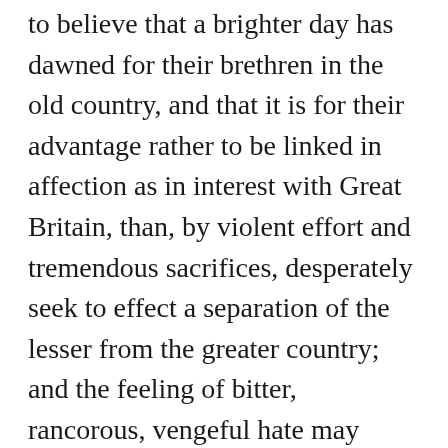to believe that a brighter day has dawned for their brethren in the old country, and that it is for their advantage rather to be linked in affection as in interest with Great Britain, than, by violent effort and tremendous sacrifices, desperately seek to effect a separation of the lesser from the greater country; and the feeling of bitter, rancorous, vengeful hate may gradually soften and die out, and eventually fade into oblivion like a dream of the past. But, on the other hand, let continued wails of distress waft their mournful accents across the ocean, stirring to its depths the heart of a passionate and impulsive race; and though Fenian leaders may quarrel or betray, and Fenian